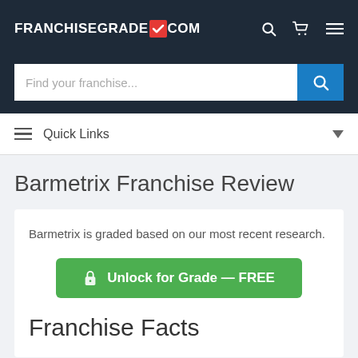FRANCHISEGRADE✓COM
Find your franchise...
Quick Links
Barmetrix Franchise Review
Barmetrix is graded based on our most recent research.
🔒 Unlock for Grade — FREE
Franchise Facts